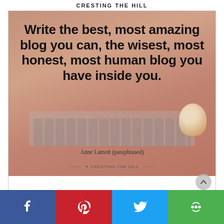CRESTING THE HILL
[Figure (photo): A quote image overlay on a photo of a person typing on a laptop with a latte cup nearby. Quote reads: 'Write the best, most amazing blog you can, the wisest, most honest, most human blog you have inside you.' attributed to Anne Lamott (paraphrased), with Cresting The Hill logo at bottom.]
Anne Lamott (paraphrased)